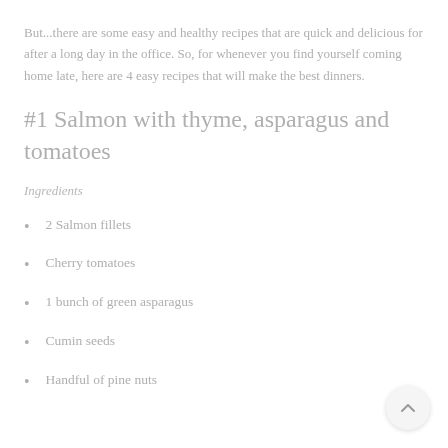But...there are some easy and healthy recipes that are quick and delicious for after a long day in the office. So, for whenever you find yourself coming home late, here are 4 easy recipes that will make the best dinners.
#1 Salmon with thyme, asparagus and tomatoes
Ingredients
2 Salmon fillets
Cherry tomatoes
1 bunch of green asparagus
Cumin seeds
Handful of pine nuts